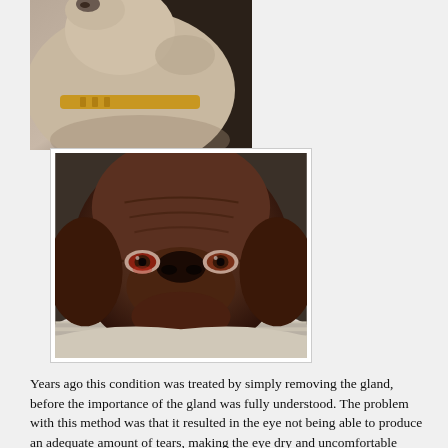[Figure (photo): Close-up photo of a gray/white dog looking upward, wearing an orange collar, resting on a dark surface.]
[Figure (photo): Close-up photo of a chocolate Labrador puppy with wrinkled face and reddish watery eyes, lying on a blanket.]
Years ago this condition was treated by simply removing the gland, before the importance of the gland was fully understood. The problem with this method was that it resulted in the eye not being able to produce an adequate amount of tears, making the eye dry and uncomfortable